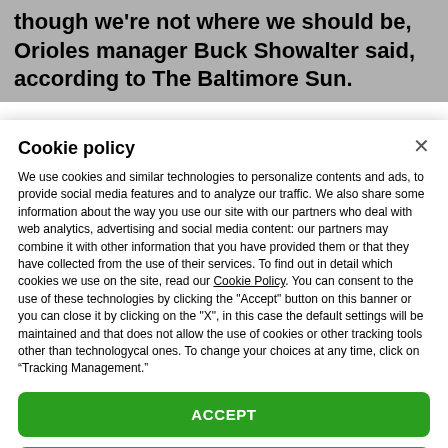though we're not where we should be, Orioles manager Buck Showalter said, according to The Baltimore Sun.
Cookie policy
We use cookies and similar technologies to personalize contents and ads, to provide social media features and to analyze our traffic. We also share some information about the way you use our site with our partners who deal with web analytics, advertising and social media content: our partners may combine it with other information that you have provided them or that they have collected from the use of their services. To find out in detail which cookies we use on the site, read our Cookie Policy. You can consent to the use of these technologies by clicking the "Accept" button on this banner or you can close it by clicking on the "X", in this case the default settings will be maintained and that does not allow the use of cookies or other tracking tools other than technologycal ones. To change your choices at any time, click on “Tracking Management.”
ACCEPT
TRACKERS MANAGEMENT
Show vendors | Show purposes